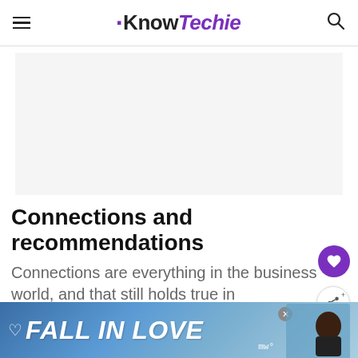KnowTechie
[Figure (other): Advertisement placeholder area (light gray rectangle)]
Connections and recommendations
Connections are everything in the business world, and that still holds true in
[Figure (other): Bottom advertisement banner reading FALL IN LOVE with dog image and mw logo]